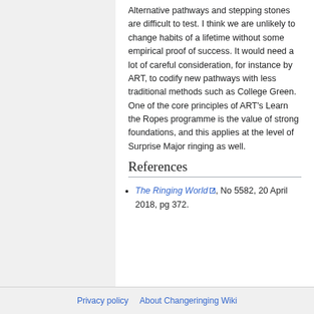Alternative pathways and stepping stones are difficult to test. I think we are unlikely to change habits of a lifetime without some empirical proof of success. It would need a lot of careful consideration, for instance by ART, to codify new pathways with less traditional methods such as College Green. One of the core principles of ART's Learn the Ropes programme is the value of strong foundations, and this applies at the level of Surprise Major ringing as well.
References
The Ringing World, No 5582, 20 April 2018, pg 372.
Privacy policy   About Changeringing Wiki